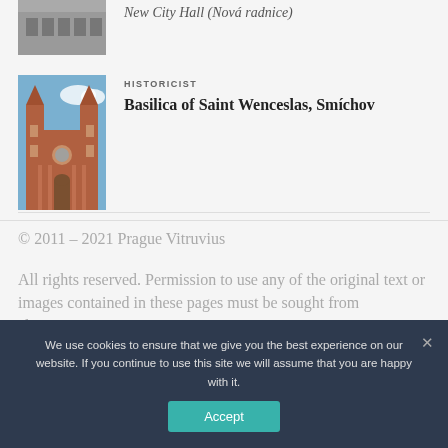New City Hall (Nová radnice)
HISTORICIST
Basilica of Saint Wenceslas, Smíchov
© 2011 – 2021 Prague Vitruvius
All rights reserved.  Permission to use any of the original text or images contained in these pages must be sought from alex@pragitecture.eu
We use cookies to ensure that we give you the best experience on our website. If you continue to use this site we will assume that you are happy with it. Accept